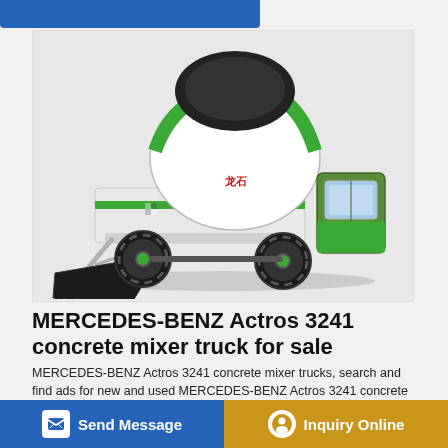[Figure (photo): Self-loading concrete mixer truck, white and green, with a large rotating drum on back and a front loading bucket/scoop. The machine has large off-road tires and an operator cab on the right side.]
MERCEDES-BENZ Actros 3241 concrete mixer truck for sale
MERCEDES-BENZ Actros 3241 concrete mixer trucks, search and find ads for new and used MERCEDES-BENZ Actros 3241 concrete mixer trucks for sale — Machineryline USA … EDES-… Putzmeister pump/mixer 7 m3 / 20 m . $65,000 EUR €54,000.